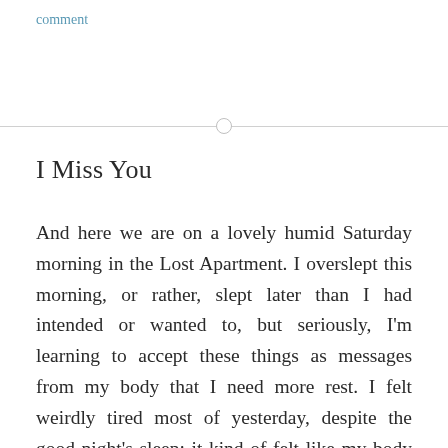comment
I Miss You
And here we are on a lovely humid Saturday morning in the Lost Apartment. I overslept this morning, or rather, slept later than I had intended or wanted to, but seriously, I'm learning to accept these things as messages from my body that I need more rest. I felt weirdly tired most of yesterday, despite the good night's sleep; it kind of felt like my body never completely woke up, although